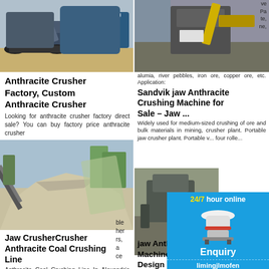[Figure (photo): Industrial mining crawler machine / conveyor system]
Anthracite Crusher Factory, Custom Anthracite Crusher
Looking for anthracite crusher factory direct sale? You can buy factory price anthracite crusher
[Figure (photo): Large pile of crushed stone/aggregate with conveyor belt]
Jaw CrusherCrusher Anthracite Coal Crushing Line
Anthracite Coal Crushing Line In Alexandria La. Anthracite coal crushing line in alexandria
[Figure (photo): Large industrial jaw crusher machine outdoors]
Sandvik jaw Anthracite Crushing Machine for Sale – Jaw ...
alumina, river pebbles, iron ore, copper ore, etc. Application: Widely used for medium-sized crushing of ore and bulk materials in mining, crusher plant. Portable jaw crusher plant. Portable v... four rolle...
[Figure (photo): Mining crusher/screening equipment outdoors]
jaw Anth Machine Design
Jaw crus... crushing m... shape of fi...
[Figure (illustration): 24/7 hour online chatbox with cone crusher machine image, Click me to chat>> button, Enquiry bar, limingjlmofen bar]